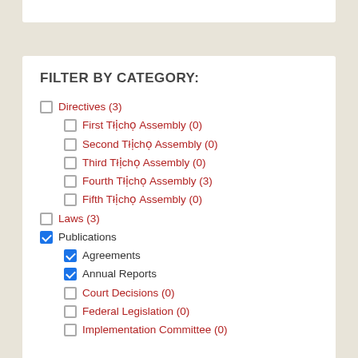FILTER BY CATEGORY:
Directives (3)
First Tłı̨chǫ Assembly (0)
Second Tłı̨chǫ Assembly (0)
Third Tłı̨chǫ Assembly (0)
Fourth Tłı̨chǫ Assembly (3)
Fifth Tłı̨chǫ Assembly (0)
Laws (3)
Publications
Agreements
Annual Reports
Court Decisions (0)
Federal Legislation (0)
Implementation Committee (0)